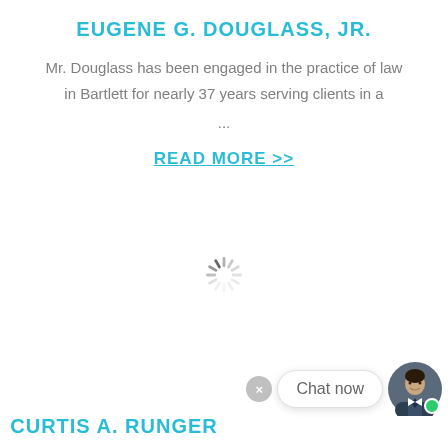EUGENE G. DOUGLASS, JR.
Mr. Douglass has been engaged in the practice of law in Bartlett for nearly 37 years serving clients in a
...
READ MORE >>
[Figure (other): Loading spinner / animated loading indicator (circular spinner)]
[Figure (other): Chat widget with close button (x), 'Chat now' bubble, and avatar photo of a man in a suit with green online indicator dot]
CURTIS A. RUNGER